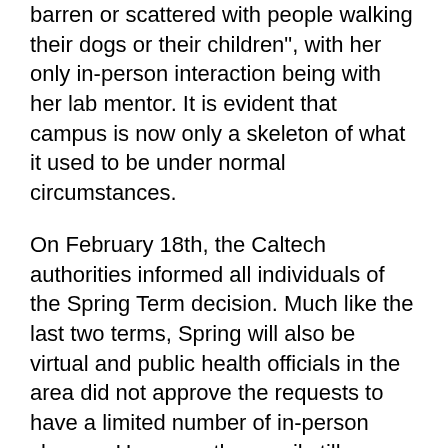barren or scattered with people walking their dogs or their children", with her only in-person interaction being with her lab mentor. It is evident that campus is now only a skeleton of what it used to be under normal circumstances.
On February 18th, the Caltech authorities informed all individuals of the Spring Term decision. Much like the last two terms, Spring will also be virtual and public health officials in the area did not approve the requests to have a limited number of in-person classes. However, the email still contained optimism for a return to “in-person instruction and residential living in the fall”. As we prepare for yet another eleven weeks of Zoom classes and virtual friendships, this optimism seems to provide a glimmer of hope for the future.
As vaccinations rise and test positivity declines,